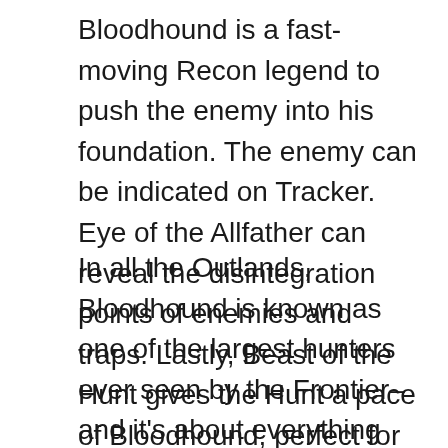Bloodhound is a fast-moving Recon legend to push the enemy into his foundation. The enemy can be indicated on Tracker. Eye of the Allfather can reveal the disintegration points of enemies and traps. Lastly, Beast of the Hunt gives the Hunt a pace of Bloodhound, perfect for the move.
In all the Outlands, Bloodhound is known as one of the largest hunters ever seen by the Frontier–and it's about everything that everybody knows. Their identity is a mystery encircling rumors: they're fabulously wealthy, a sanguinary rapist, a whisperer from Goliath, a former slave, a